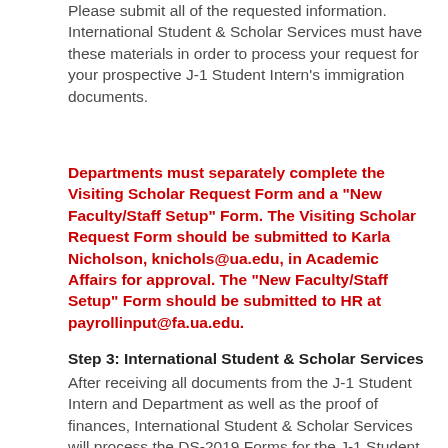Please submit all of the requested information. International Student & Scholar Services must have these materials in order to process your request for your prospective J-1 Student Intern's immigration documents.
Departments must separately complete the Visiting Scholar Request Form and a "New Faculty/Staff Setup" Form. The Visiting Scholar Request Form should be submitted to Karla Nicholson, knichols@ua.edu, in Academic Affairs for approval. The "New Faculty/Staff Setup" Form should be submitted to HR at payrollinput@fa.ua.edu.
Step 3: International Student & Scholar Services
After receiving all documents from the J-1 Student Intern and Department as well as the proof of finances, International Student & Scholar Services will process the DS-2019 Forms for the J-1 Student Intern and for all J-2